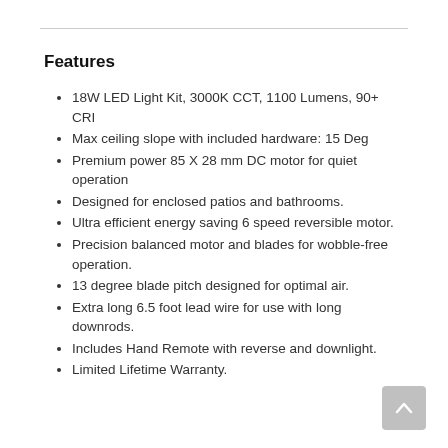Features
18W LED Light Kit, 3000K CCT, 1100 Lumens, 90+ CRI
Max ceiling slope with included hardware: 15 Deg
Premium power 85 X 28 mm DC motor for quiet operation
Designed for enclosed patios and bathrooms.
Ultra efficient energy saving 6 speed reversible motor.
Precision balanced motor and blades for wobble-free operation.
13 degree blade pitch designed for optimal air.
Extra long 6.5 foot lead wire for use with long downrods.
Includes Hand Remote with reverse and downlight.
Limited Lifetime Warranty.